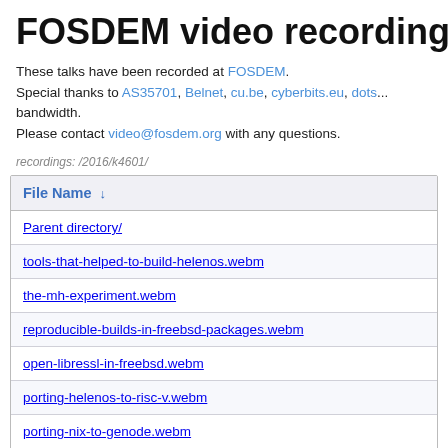FOSDEM video recordings
These talks have been recorded at FOSDEM. Special thanks to AS35701, Belnet, cu.be, cyberbits.eu, dots... bandwidth. Please contact video@fosdem.org with any questions.
recordings: /2016/k4601/
| File Name ↓ |
| --- |
| Parent directory/ |
| tools-that-helped-to-build-helenos.webm |
| the-mh-experiment.webm |
| reproducible-builds-in-freebsd-packages.webm |
| open-libressl-in-freebsd.webm |
| porting-helenos-to-risc-v.webm |
| porting-nix-to-genode.webm |
| edgebsd-status-report.webm |